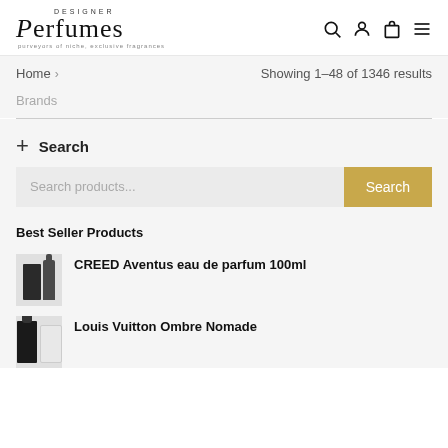[Figure (logo): Designer Perfumes logo with text 'purveyors of niche, exclusive fragrances']
Home > Showing 1–48 of 1346 results
Brands
+ Search
Search products...
Best Seller Products
CREED Aventus eau de parfum 100ml
Louis Vuitton Ombre Nomade